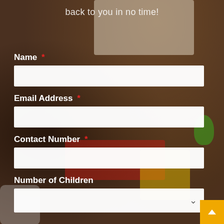back to you in no time!
Name *
Email Address *
Contact Number *
Number of Children